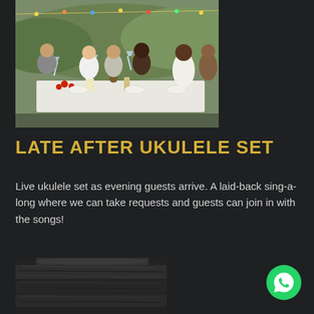[Figure (photo): Outdoor wedding reception dinner table with guests raising glasses in a toast, fairy lights overhead, green hills in background]
LATE AFTER UKULELE SET
Live ukulele set as evening guests arrive. A laid-back sing-a-long where we can take requests and guests can join in with the songs!
[Figure (photo): Black and white photo of wooden barrels or logs stacked together]